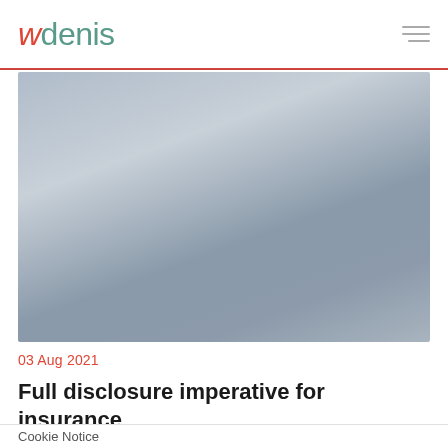wdenis
[Figure (photo): Gray gradient hero image, abstract blurred background photo]
03 Aug 2021
Full disclosure imperative for insurance
Cookie Notice